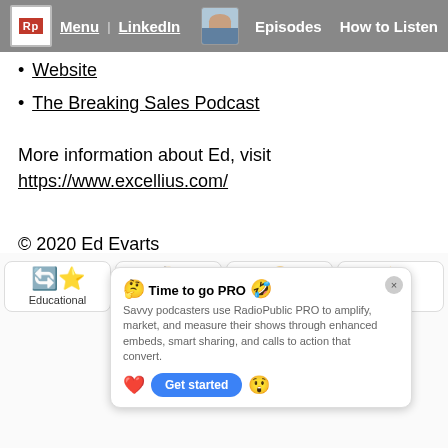Menu | LinkedIn   Episodes   How to Listen
Website
The Breaking Sales Podcast
More information about Ed, visit
https://www.excellius.com/
© 2020 Ed Evarts
[Figure (screenshot): Bottom overlay showing emoji rating cards (Educational, Interesting, Funny, Agree) and a 'Time to go PRO' popup with RadioPublic PRO promotional text and a 'Get started' button]